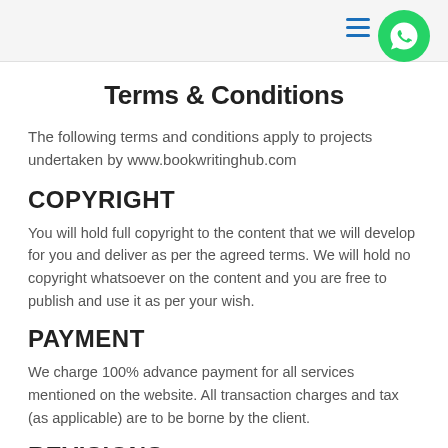Terms & Conditions
The following terms and conditions apply to projects undertaken by www.bookwritinghub.com
COPYRIGHT
You will hold full copyright to the content that we will develop for you and deliver as per the agreed terms. We will hold no copyright whatsoever on the content and you are free to publish and use it as per your wish.
PAYMENT
We charge 100% advance payment for all services mentioned on the website. All transaction charges and tax (as applicable) are to be borne by the client.
REVISIONS